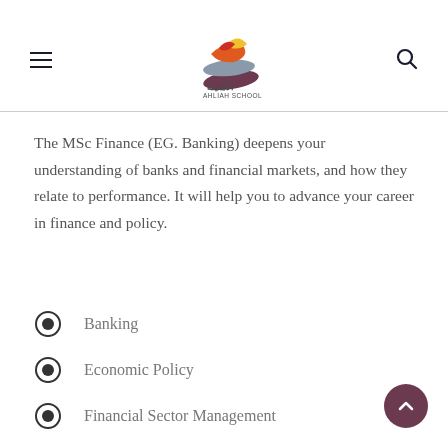[Figure (logo): Ahliah School logo with Arabic text and colorful stacked shapes]
The MSc Finance (EG. Banking) deepens your understanding of banks and financial markets, and how they relate to performance. It will help you to advance your career in finance and policy.
Banking
Economic Policy
Financial Sector Management